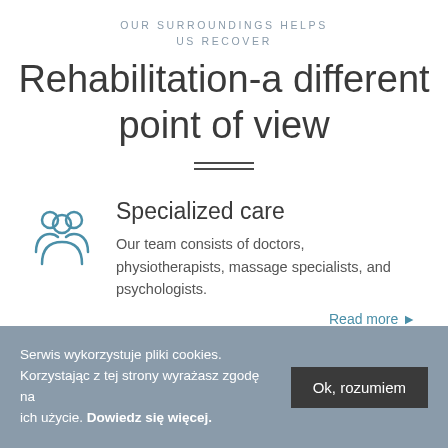OUR SURROUNDINGS HELPS US RECOVER
Rehabilitation-a different point of view
Specialized care
[Figure (illustration): Icon of three people/group representing a team, drawn in blue outline style]
Our team consists of doctors, physiotherapists, massage specialists, and psychologists.
Read more ▶
Serwis wykorzystuje pliki cookies. Korzystając z tej strony wyrażasz zgodę na ich użycie. Dowiedz się więcej.